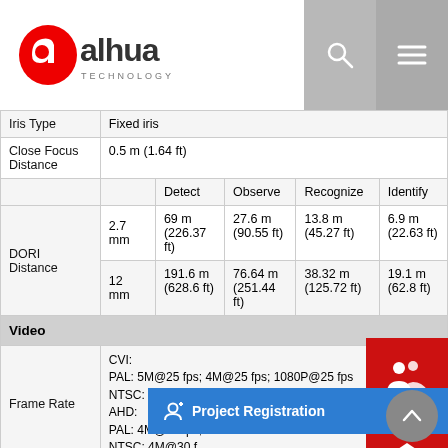[Figure (logo): Dahua Technology logo - red stylized 'a' with 'alhua TECHNOLOGY' text]
| Property | Sub | Detect | Observe | Recognize | Identify |
| --- | --- | --- | --- | --- | --- |
| Iris Type |  | Fixed iris |  |  |  |
| Close Focus Distance |  | 0.5 m (1.64 ft) |  |  |  |
| DORI Distance | 2.7 mm | 69 m (226.37 ft) | 27.6 m (90.55 ft) | 13.8 m (45.27 ft) | 6.9 m (22.63 ft) |
| DORI Distance | 12 mm | 191.6 m (628.6 ft) | 76.64 m (251.44 ft) | 38.32 m (125.72 ft) | 19.1 m (62.8 ft) |
| Video |  |  |  |  |  |
| Frame Rate |  | CVI:
PAL: 5M@25 fps; 4M@25 fps; 1080P@25 fps
NTSC: 5M@25 fps
AHD:
PAL: 4M@25 fps;
NTSC: 4M@30 f... |  |  |  |